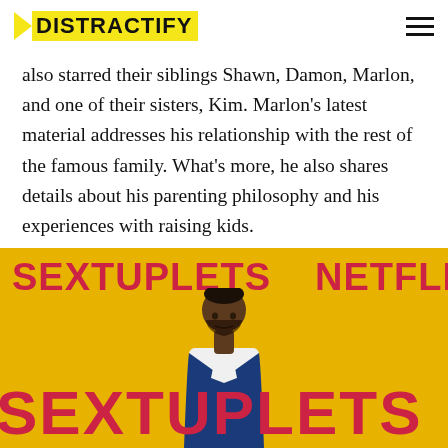DISTRACTIFY
also starred their siblings Shawn, Damon, Marlon, and one of their sisters, Kim. Marlon's latest material addresses his relationship with the rest of the famous family. What's more, he also shares details about his parenting philosophy and his experiences with raising kids.
[Figure (photo): A man in a blue suit standing in front of a yellow Sextuplets Netflix premiere backdrop. The text SEXTUPLETS and NETFLIX appears prominently in large red letters on the yellow background.]